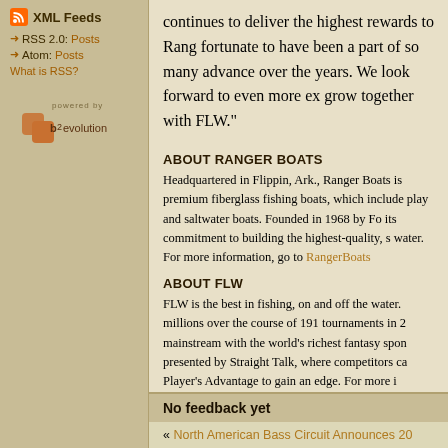XML Feeds
RSS 2.0: Posts
Atom: Posts
What is RSS?
[Figure (logo): powered by b2evolution logo]
continues to deliver the highest rewards to Rang fortunate to have been a part of so many advance over the years. We look forward to even more ex grow together with FLW."
ABOUT RANGER BOATS
Headquartered in Flippin, Ark., Ranger Boats is premium fiberglass fishing boats, which include play and saltwater boats. Founded in 1968 by Fo its commitment to building the highest-quality, s water. For more information, go to RangerBoats
ABOUT FLW
FLW is the best in fishing, on and off the water. millions over the course of 191 tournaments in 2 mainstream with the world's richest fantasy spon presented by Straight Talk, where competitors ca Player's Advantage to gain an edge. For more i Fantasy Fishing, visit FLWOutdoors.com or Fan
Tags: flw outdoors, irwin jacobs, randy hopper,
No feedback yet
« North American Bass Circuit Announces 20